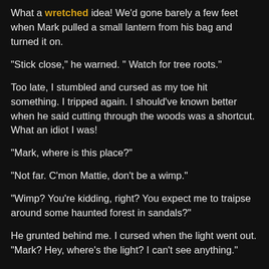What a wretched idea! We'd gone barely a few feet when Mark pulled a small lantern from his bag and turned it on.
"Stick close," he warned. " Watch for tree roots."
Too late, I stumbled and cursed as my toe hit something. I tripped again. I should've known better when he said cutting through the woods was a shortcut. What an idiot I was!
"Mark, where is this place?"
"Not far. C'mon Mattie, don't be a wimp."
"Wimp? You're kidding, right? You expect me to traipse around some haunted forest in sandals?"
He grunted behind me. I cursed when the light went out. "Mark? Hey, where's the light? I can't see anything."
No answer.